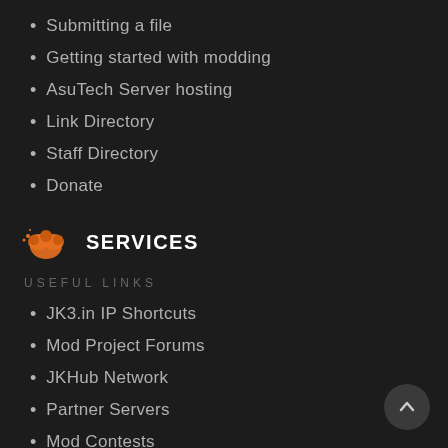Submitting a file
Getting started with modding
AsuTech Server hosting
Link Directory
Staff Directory
Donate
SERVICES
USEFUL LINKS
JK3.in IP Shortcuts
Mod Project Forums
JKHub Network
Partner Servers
Mod Contests
COMMUNITY